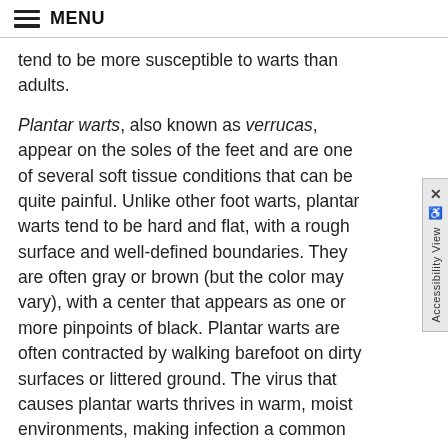MENU
tend to be more susceptible to warts than adults.
Plantar warts, also known as verrucas, appear on the soles of the feet and are one of several soft tissue conditions that can be quite painful. Unlike other foot warts, plantar warts tend to be hard and flat, with a rough surface and well-defined boundaries. They are often gray or brown (but the color may vary), with a center that appears as one or more pinpoints of black. Plantar warts are often contracted by walking barefoot on dirty surfaces or littered ground. The virus that causes plantar warts thrives in warm, moist environments, making infection a common occurrence in public pools and locker rooms.
Like any other infectious lesion, plantar warts are spread by touching, scratching, or even by contact with skin shed from another wart. The wart may also bleed, another route for spreading. Plantar warts that develop on the weight-bearing areas of the foot (the ball or heel of the foot) can cause a